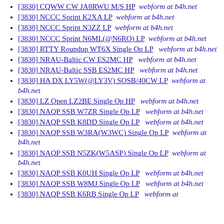[3830] CQWW CW JA8RWU M/S HP  webform at b4h.net
[3830] NCCC Sprint K2XA LP  webform at b4h.net
[3830] NCCC Sprint N3ZZ LP  webform at b4h.net
[3830] NCCC Sprint N6ML(@N6RO) LP  webform at b4h.net
[3830] RTTY Roundup WT6X Single Op LP  webform at b4h.net
[3830] NRAU-Baltic CW ES2MC HP  webform at b4h.net
[3830] NRAU-Baltic SSB ES2MC HP  webform at b4h.net
[3830] HA DX LY5W(@LY3V) SOSB/40CW LP  webform at b4h.net
[3830] LZ Open LZ2BE Single Op HP  webform at b4h.net
[3830] NAQP SSB W7ZR Single Op LP  webform at b4h.net
[3830] NAQP SSB K8DD Single Op LP  webform at b4h.net
[3830] NAQP SSB W3RA(W3WC) Single Op LP  webform at b4h.net
[3830] NAQP SSB N5ZK(W5ASP) Single Op LP  webform at b4h.net
[3830] NAQP SSB K0UH Single Op LP  webform at b4h.net
[3830] NAQP SSB W8MJ Single Op LP  webform at b4h.net
[3830] NAQP SSB K6RB Single Op LP  webform at